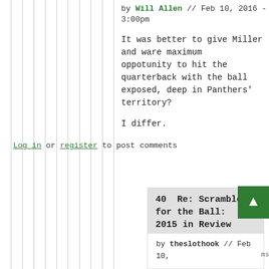by Will Allen // Feb 10, 2016 - 3:00pm
It was better to give Miller and ware maximum oppotunity to hit the quarterback with the ball exposed, deep in Panthers' territory?
I differ.
Log in or register to post comments
40  Re: Scramble for the Ball: 2015 in Review
by theslothook // Feb 10,